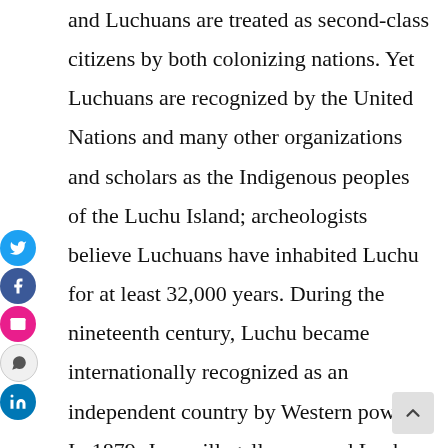and Luchuans are treated as second-class citizens by both colonizing nations. Yet Luchuans are recognized by the United Nations and many other organizations and scholars as the Indigenous peoples of the Luchu Island; archeologists believe Luchuans have inhabited Luchu for at least 32,000 years. During the nineteenth century, Luchu became internationally recognized as an independent country by Western powers. In 1879, Japan illegally annexed Luchu against the will of Luchuans in its first colonial acquisition. After World War II, Japan's other colonies regained th independence while the U.S. military decided to